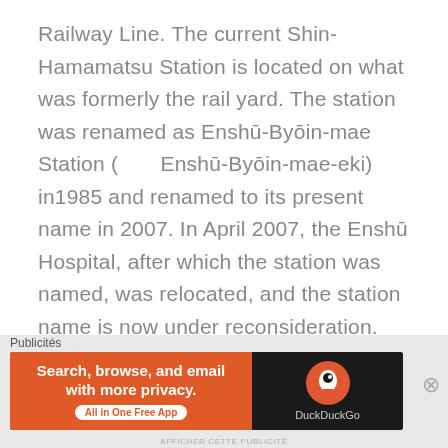Railway Line. The current Shin-Hamamatsu Station is located on what was formerly the rail yard. The station was renamed as Enshū-Byōin-mae Station (　　Enshū-Byōin-mae-eki) in1985 and renamed to its present name in 2007. In April 2007, the Enshū Hospital, after which the station was named, was relocated, and the station name is now under reconsideration. Enshū-Byōin Station has dual opposed elevated side platforms, with the station
Publicités
[Figure (other): DuckDuckGo advertisement banner with orange background on left side reading 'Search, browse, and email with more privacy. All in One Free App' and DuckDuckGo logo on dark right side.]